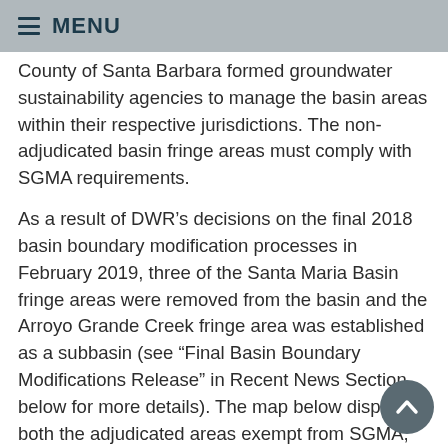MENU
County of Santa Barbara formed groundwater sustainability agencies to manage the basin areas within their respective jurisdictions. The non-adjudicated basin fringe areas must comply with SGMA requirements.
As a result of DWR’s decisions on the final 2018 basin boundary modification processes in February 2019, three of the Santa Maria Basin fringe areas were removed from the basin and the Arroyo Grande Creek fringe area was established as a subbasin (see “Final Basin Boundary Modifications Release” in Recent News Section below for more details). The map below displays both the adjudicated areas exempt from SGMA, and the newly modified basin boundaries, which shows the remaining fringe areas that are subject to SGMA.